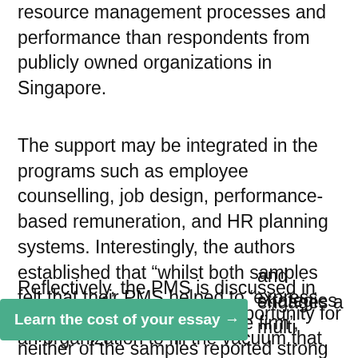...identified higher integration between different human resource management processes and performance than respondents from publicly owned organizations in Singapore.
The support may be integrated in the programs such as employee counselling, job design, performance-based remuneration, and HR planning systems. Interestingly, the authors established that “whilst both samples felt that their PMS helped to ‘express the value of the people in the firm’, neither of the samples reported strong connections between PM systems and staffing strategies” (Stanton and Nankervis 69).
Reflectively, the PMS is discussed in the article as offering the opportunity for an organization to fill the vacuum that often exists between compensations and strategies ...engages a multi
Learn the cost of your essay →